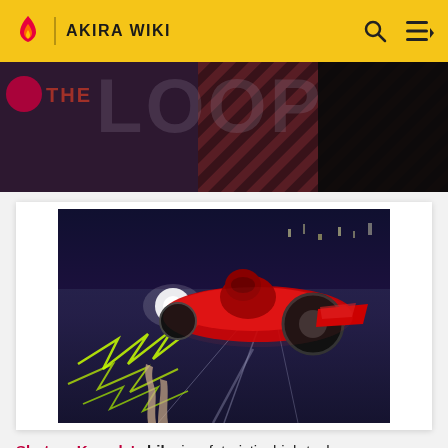AKIRA WIKI
[Figure (screenshot): Akira Wiki website screenshot showing 'THE LOOP' banner with dark purple/maroon background and diagonal stripe pattern]
[Figure (illustration): Anime illustration from Akira showing Shotaro Kaneda riding his iconic red futuristic motorcycle on a highway at night, with glowing green lightning/energy effects on the road beneath]
Shotaro Kaneda's bike is a futuristic, high-tech